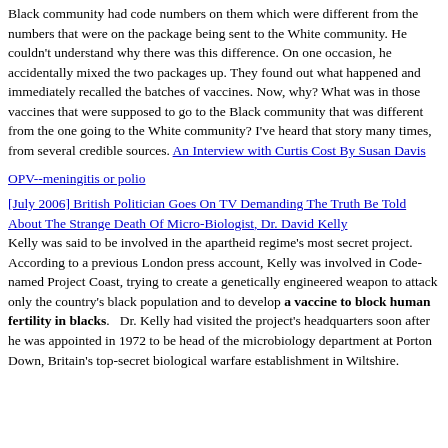Black community had code numbers on them which were different from the numbers that were on the package being sent to the White community. He couldn't understand why there was this difference. On one occasion, he accidentally mixed the two packages up. They found out what happened and immediately recalled the batches of vaccines. Now, why? What was in those vaccines that were supposed to go to the Black community that was different from the one going to the White community? I've heard that story many times, from several credible sources. An Interview with Curtis Cost By Susan Davis
OPV--meningitis or polio
[July 2006] British Politician Goes On TV Demanding The Truth Be Told About The Strange Death Of Micro-Biologist, Dr. David Kelly
Kelly was said to be involved in the apartheid regime's most secret project. According to a previous London press account, Kelly was involved in Code-named Project Coast, trying to create a genetically engineered weapon to attack only the country's black population and to develop a vaccine to block human fertility in blacks.   Dr. Kelly had visited the project's headquarters soon after he was appointed in 1972 to be head of the microbiology department at Porton Down, Britain's top-secret biological warfare establishment in Wiltshire.